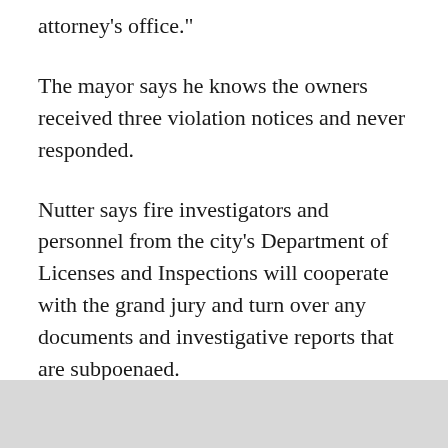attorney's office."
The mayor says he knows the owners received three violation notices and never responded.
Nutter says fire investigators and personnel from the city's Department of Licenses and Inspections will cooperate with the grand jury and turn over any documents and investigative reports that are subpoenaed.
In the meantime, he says, a citywide assessment of vacant properties like the Kensington factory is under way to identify the owners and assess the safety of those structures.